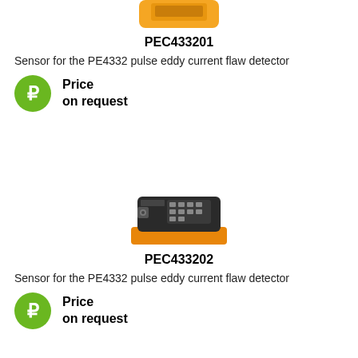[Figure (photo): Partial view of an orange/yellow handheld sensor device for the PE4332 pulse eddy current flaw detector (PEC433201), cropped at top]
PEC433201
Sensor for the PE4332 pulse eddy current flaw detector
Price
on request
[Figure (photo): Black and orange compact sensor device for the PE4332 pulse eddy current flaw detector (PEC433202), shown at an angle]
PEC433202
Sensor for the PE4332 pulse eddy current flaw detector
Price
on request